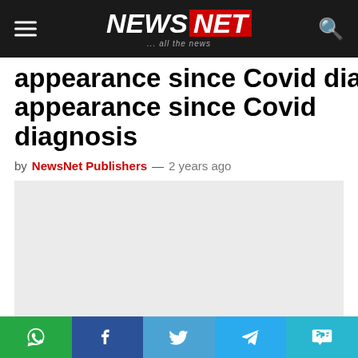NEWS NET ... all the news
appearance since Covid diagnosis
by NewsNet Publishers — 2 years ago
[Figure (photo): Large image placeholder area, light grey background]
Social share bar: WhatsApp, Facebook, Twitter, Telegram, SMS